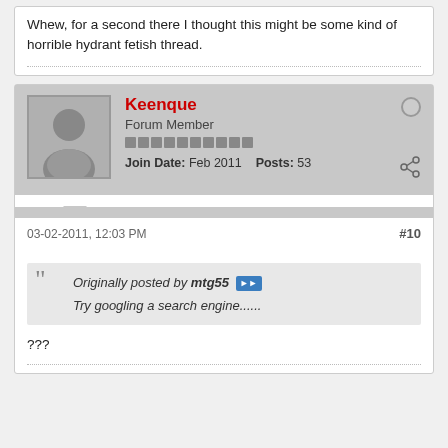Whew, for a second there I thought this might be some kind of horrible hydrant fetish thread.
Keenque
Forum Member
Join Date: Feb 2011  Posts: 53
03-02-2011, 12:03 PM
#10
Originally posted by mtg55
Try googling a search engine......
???